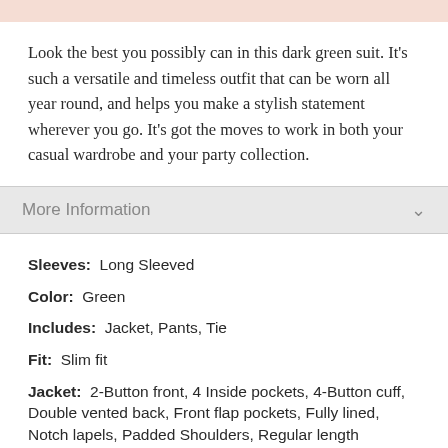Look the best you possibly can in this dark green suit. It's such a versatile and timeless outfit that can be worn all year round, and helps you make a stylish statement wherever you go. It's got the moves to work in both your casual wardrobe and your party collection.
More Information
Sleeves: Long Sleeved
Color: Green
Includes: Jacket, Pants, Tie
Fit: Slim fit
Jacket: 2-Button front, 4 Inside pockets, 4-Button cuff, Double vented back, Front flap pockets, Fully lined, Notch lapels, Padded Shoulders, Regular length